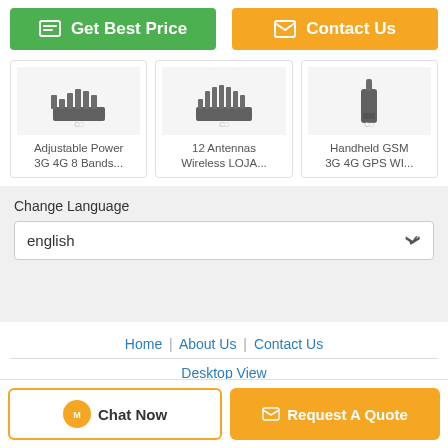[Figure (screenshot): Two call-to-action buttons: 'Get Best Price' (green) and 'Contact Us' (orange)]
[Figure (photo): Three product thumbnails: Adjustable Power 3G 4G 8 Bands..., 12 Antennas Wireless LOJA..., Handheld GSM 3G 4G GPS WI...]
Adjustable Power 3G 4G 8 Bands...
12 Antennas Wireless LOJA...
Handheld GSM 3G 4G GPS WI...
Change Language
english
Home | About Us | Contact Us
Desktop View
Copyright © 2019 - 2021 signaljammingdevice.com. All rights reserved.
[Figure (screenshot): Bottom bar with Chat Now and Request A Quote buttons]